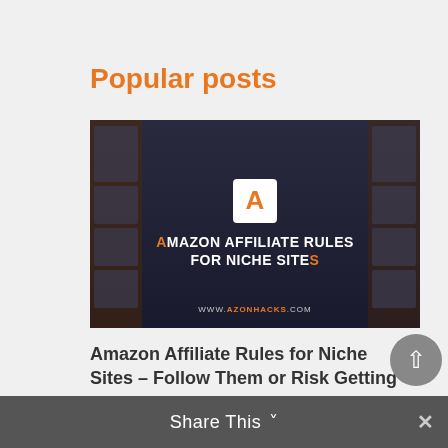Popular posts
[Figure (illustration): Promotional blog image for 'Amazon Affiliate Rules for Niche Sites' showing a dark blue background with multiple website panel mockups on sides, white square logo box with orange A, bold white text headline 'AMAZON AFFILIATE RULES FOR NICHE SITES' with orange A and orange S, and URL www.azonhacks.com at bottom]
Amazon Affiliate Rules for Niche Sites – Follow Them or Risk Getting Banned
Niche Site Creation   Sep 10, 2016
[Figure (screenshot): Partial thumbnail of another blog post image with dark background, orange/white A logo, and partially visible text 'AMAZON NICHE RESEARCH']
Share This